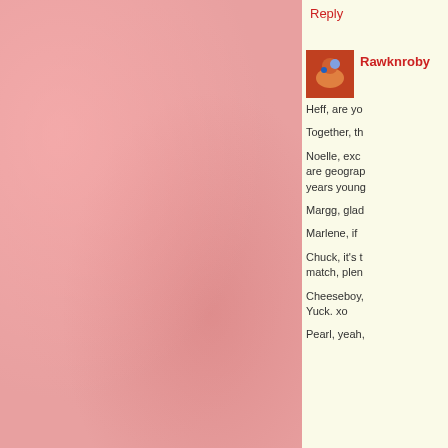Reply
Rawknroby
Heff, are yo…
Together, th…
Noelle, exc… are geograp… years young…
Margg, glad…
Marlene, if…
Chuck, it's t… match, plen…
Cheeseboy, … Yuck. xo
Pearl, yeah,…